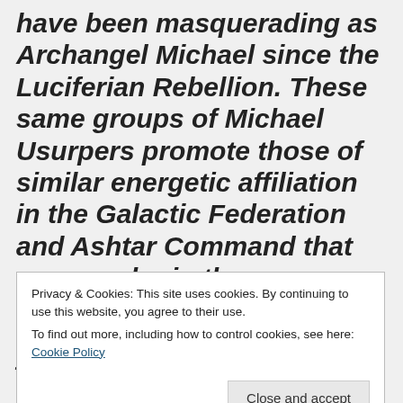have been masquerading as Archangel Michael since the Luciferian Rebellion. These same groups of Michael Usurpers promote those of similar energetic affiliation in the Galactic Federation and Ashtar Command that are popular in the new age hijack. Sadly, the Archangel Michael Matrix is a mind
Privacy & Cookies: This site uses cookies. By continuing to use this website, you agree to their use.
To find out more, including how to control cookies, see here: Cookie Policy
y sequences that force the fire d...